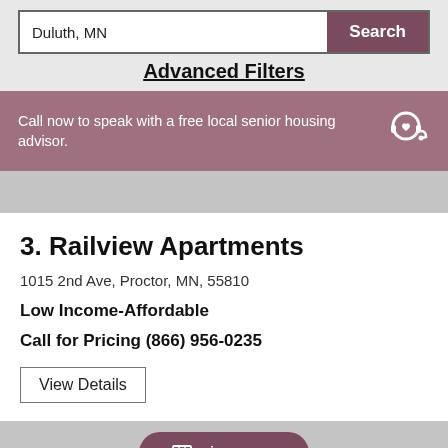Duluth, MN
Search
Advanced Filters
Call now to speak with a free local senior housing advisor.
3. Railview Apartments
1015 2nd Ave, Proctor, MN, 55810
Low Income-Affordable
Call for Pricing (866) 956-0235
View Details
view map